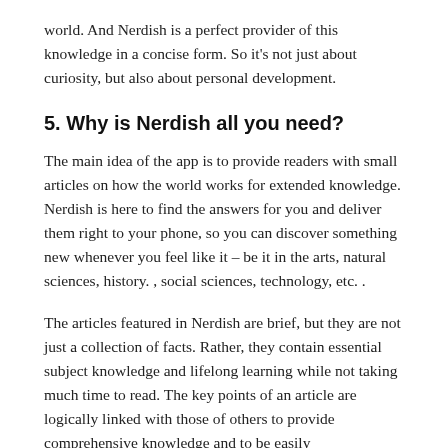world. And Nerdish is a perfect provider of this knowledge in a concise form. So it's not just about curiosity, but also about personal development.
5. Why is Nerdish all you need?
The main idea of â€‹â€‹the app is to provide readers with small articles on how the world works for extended knowledge. Nerdish is here to find the answers for you and deliver them right to your phone, so you can discover something new whenever you feel like it – be it in the arts, natural sciences, history. , social sciences, technology, etc. .
The articles featured in Nerdish are brief, but they are not just a collection of facts. Rather, they contain essential subject knowledge and lifelong learning while not taking much time to read. The key points of an article are logically linked with those of others to provide comprehensive knowledge and to be easily